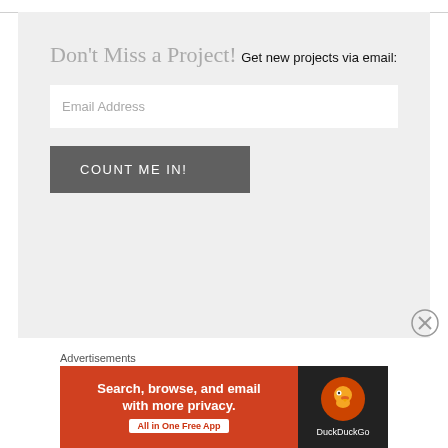Don't Miss a Project!
Get new projects via email:
Email Address
COUNT ME IN!
Advertisements
[Figure (screenshot): DuckDuckGo advertisement banner: 'Search, browse, and email with more privacy. All in One Free App' with DuckDuckGo logo on dark background]